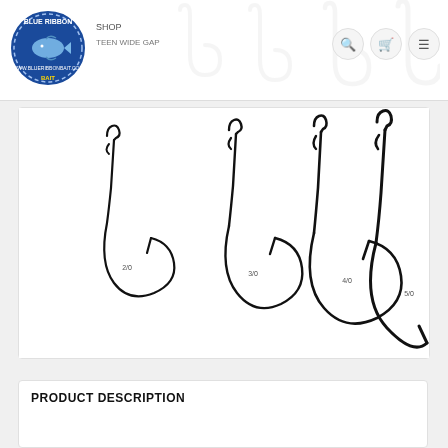BLUE RIBBON BAIT - SHOP - TEEN WIDE GAP
[Figure (photo): Product photo showing four worm hooks of increasing sizes labeled 2/0, 3/0, 4/0, and 5/0, displayed on a white background. The hooks are black wide gap worm hooks with a distinctive offset bend near the eye.]
PRODUCT DESCRIPTION